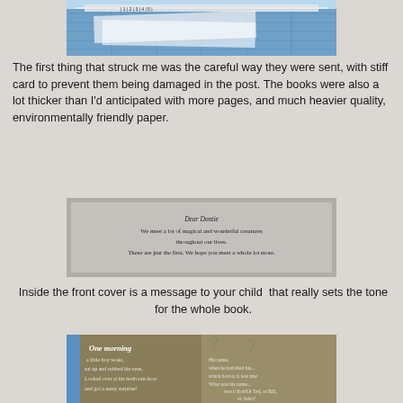[Figure (photo): Top portion of a photo showing craft/cutting mat with papers and a ruler, partially visible]
The first thing that struck me was the careful way they were sent, with stiff card to prevent them being damaged in the post. The books were also a lot thicker than I'd anticipated with more pages, and much heavier quality, environmentally friendly paper.
[Figure (photo): Photo of a book inscription page with grey background reading: Dear Dontie / We meet a lot of magical and wonderful creatures / throughout our lives. / These are just the first. We hope you meet a whole lot more.]
Inside the front cover is a message to your child  that really sets the tone for the whole book.
[Figure (photo): Photo of an open book showing story text beginning with 'One morning a little boy woke, sat up and rubbed his eyes, Looked over at his bedroom door and got a nasty surprise!' with question marks and names 'Was it Rob? Or Ted, or Bill, or John?' on the right page]